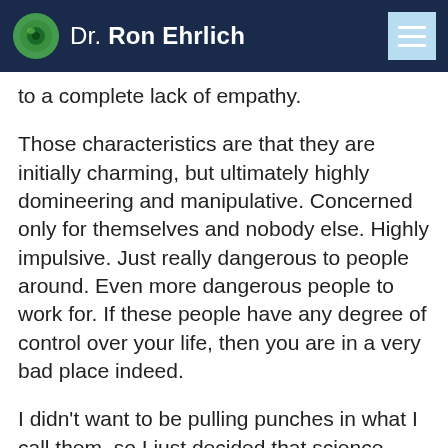Dr. Ron Ehrlich
to a complete lack of empathy.
Those characteristics are that they are initially charming, but ultimately highly domineering and manipulative. Concerned only for themselves and nobody else. Highly impulsive. Just really dangerous to people around. Even more dangerous people to work for. If these people have any degree of control over your life, then you are in a very bad place indeed.
I didn't want to be pulling punches in what I call them, so I just decided that science